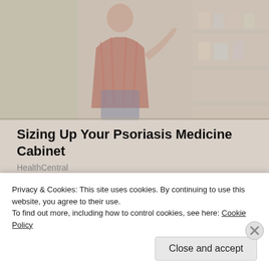[Figure (photo): Woman in a red plaid shirt browsing items in a store/pharmacy, faded and muted tones]
Sizing Up Your Psoriasis Medicine Cabinet
HealthCentral
Share this:
[Figure (screenshot): Twitter and Facebook social share buttons]
Privacy & Cookies: This site uses cookies. By continuing to use this website, you agree to their use.
To find out more, including how to control cookies, see here: Cookie Policy
Close and accept